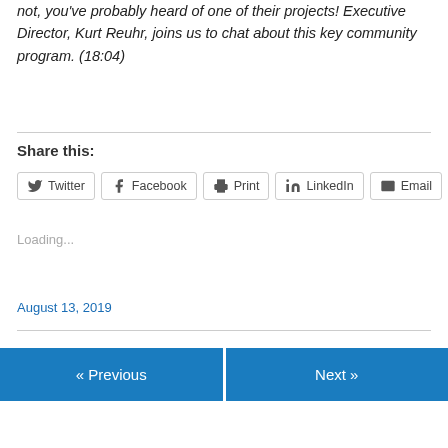not, you've probably heard of one of their projects! Executive Director, Kurt Reuhr, joins us to chat about this key community program. (18:04)
Share this:
[Figure (other): Social share buttons: Twitter, Facebook, Print, LinkedIn, Email]
Loading...
August 13, 2019
« Previous
Next »